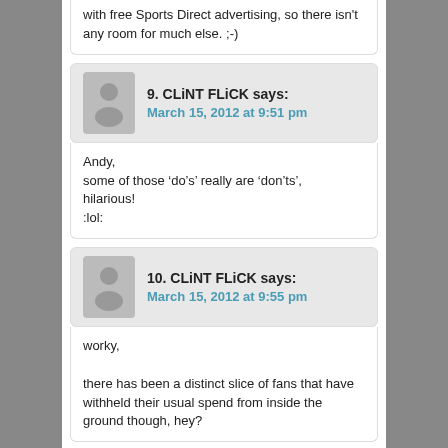with free Sports Direct advertising, so there isn't any room for much else. ;-)
9. CLiNT FLiCK says:
March 15, 2012 at 9:51 pm
Andy,
some of those ‘do’s’ really are ‘don’ts’,
hilarious!
:lol:
10. CLiNT FLiCK says:
March 15, 2012 at 9:55 pm
worky,

there has been a distinct slice of fans that have withheld their usual spend from inside the ground though, hey?